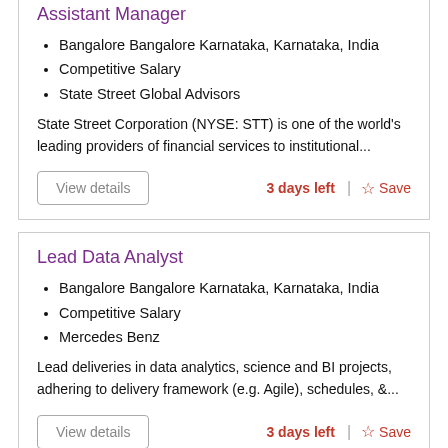Assistant Manager
Bangalore Bangalore Karnataka, Karnataka, India
Competitive Salary
State Street Global Advisors
State Street Corporation (NYSE: STT) is one of the world's leading providers of financial services to institutional...
View details
3 days left
Save
Lead Data Analyst
Bangalore Bangalore Karnataka, Karnataka, India
Competitive Salary
Mercedes Benz
Lead deliveries in data analytics, science and BI projects, adhering to delivery framework (e.g. Agile), schedules, &...
View details
3 days left
Save